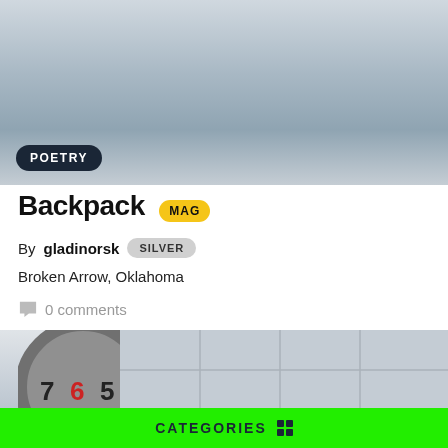[Figure (photo): Snowy outdoor scene with a person in a dark coat, blurred wintry urban background]
POETRY
Backpack MAG
By gladinorsk SILVER
Broken Arrow, Oklahoma
0 comments
[Figure (photo): Interior classroom ceiling with a clock showing numbers 7, 6, 5, drop ceiling tiles, and a fluorescent light panel]
POETRY
CATEGORIES